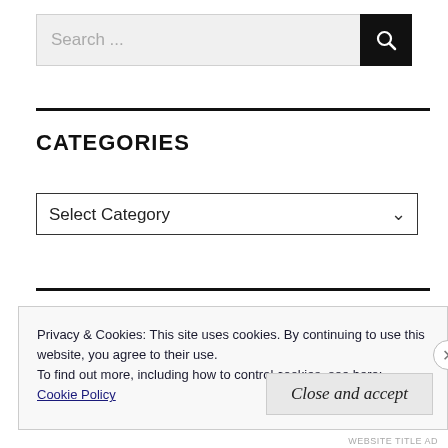[Figure (screenshot): Search input field with dark search button containing magnifying glass icon]
CATEGORIES
[Figure (screenshot): Select Category dropdown menu]
Privacy & Cookies: This site uses cookies. By continuing to use this website, you agree to their use.
To find out more, including how to control cookies, see here:
Cookie Policy
Close and accept